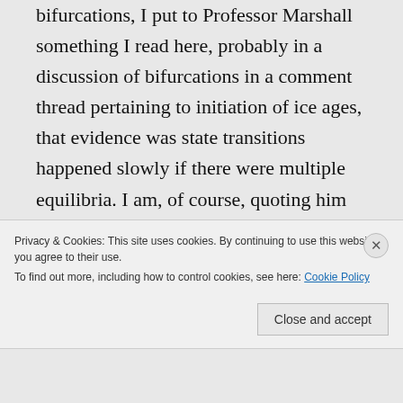bifurcations, I put to Professor Marshall something I read here, probably in a discussion of bifurcations in a comment thread pertaining to initiation of ice ages, that evidence was state transitions happened slowly if there were multiple equilibria. I am, of course, quoting him and could have gotten something wrong, but my understanding of his response was
Privacy & Cookies: This site uses cookies. By continuing to use this website, you agree to their use.
To find out more, including how to control cookies, see here: Cookie Policy